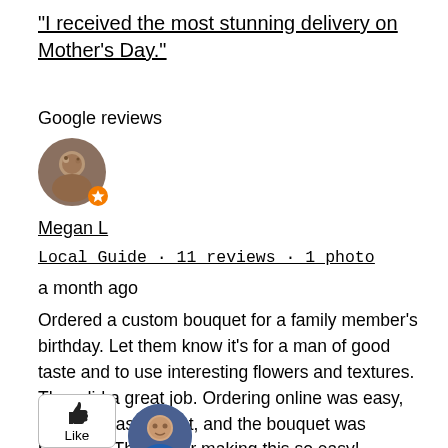"I received the most stunning delivery on Mother's Day."
Google reviews
[Figure (photo): Circular profile photo of reviewer with an orange star/badge overlay]
Megan L
Local Guide · 11 reviews · 1 photo
a month ago
Ordered a custom bouquet for a family member's birthday. Let them know it's for a man of good taste and to use interesting flowers and textures. They did a great job. Ordering online was easy, delivery was prompt, and the bouquet was beautiful. Thanks for making this so easy!
[Figure (illustration): Like button with thumbs up icon]
[Figure (photo): Circular profile photo of a second reviewer (smiling woman)]